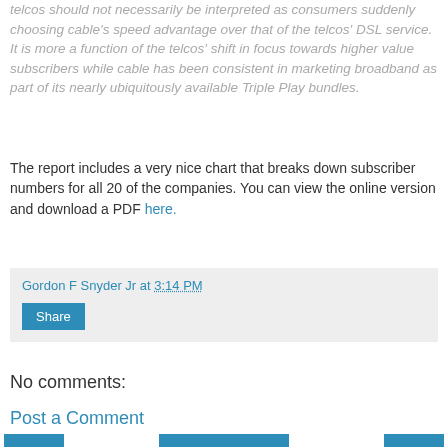telcos should not necessarily be interpreted as consumers suddenly choosing cable's speed advantage over that of the telcos' DSL service. It is more a function of the telcos' shift in focus towards higher value subscribers while cable has been consistent in marketing broadband as part of its nearly ubiquitously available Triple Play bundles.
The report includes a very nice chart that breaks down subscriber numbers for all 20 of the companies. You can view the online version and download a PDF here.
Gordon F Snyder Jr at 3:14 PM
Share
No comments:
Post a Comment